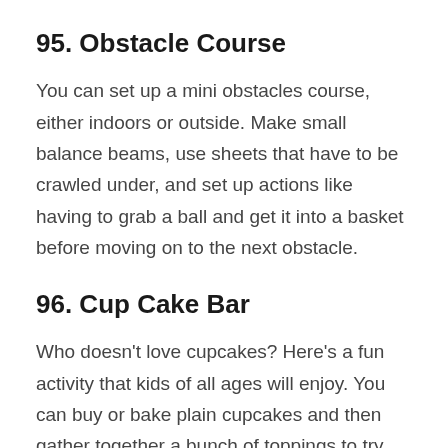95. Obstacle Course
You can set up a mini obstacles course, either indoors or outside. Make small balance beams, use sheets that have to be crawled under, and set up actions like having to grab a ball and get it into a basket before moving on to the next obstacle.
96. Cup Cake Bar
Who doesn't love cupcakes? Here's a fun activity that kids of all ages will enjoy. You can buy or bake plain cupcakes and then gather together a bunch of toppings to try